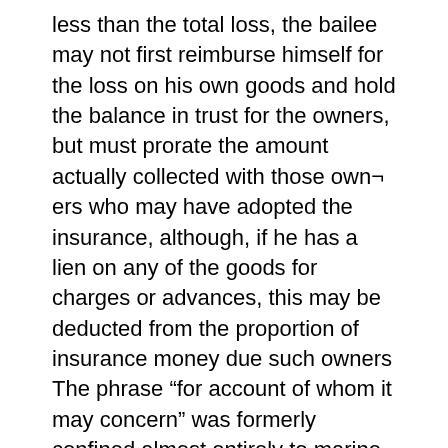less than the total loss, the bailee may not first reimburse himself for the loss on his own goods and hold the balance in trust for the owners, but must prorate the amount actually collected with those own¬ ers who may have adopted the insurance, although, if he has a lien on any of the goods for charges or advances, this may be deducted from the proportion of insurance money due such owners The phrase “for account of whom it may concern” was formerly confined almost entirely to marine insurance, but in recent years there has been an increasing tendency to intro¬ duce it into policies of fire insurance. All authorities are agreed that the interests protected by a policy containing these words must have been within the contemplation of him who took out the policy at the time it was issued. It is not necessary that he should have in¬ tended it for the benefit of some then known and particular